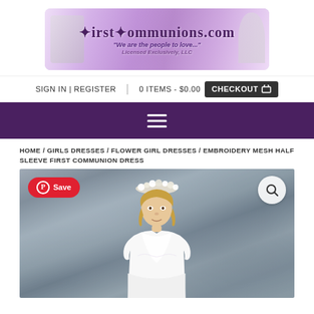[Figure (logo): FirstCommunions.com website logo with purple/lavender banner and decorative text]
SIGN IN | REGISTER   |   0 ITEMS - $0.00   CHECKOUT
[Figure (other): Purple navigation bar with hamburger menu icon]
HOME / GIRLS DRESSES / FLOWER GIRL DRESSES / EMBROIDERY MESH HALF SLEEVE FIRST COMMUNION DRESS
[Figure (photo): Young girl wearing a white first communion dress with floral crown, photographed against a grey background. Pinterest Save button in top left, zoom/search button in top right.]